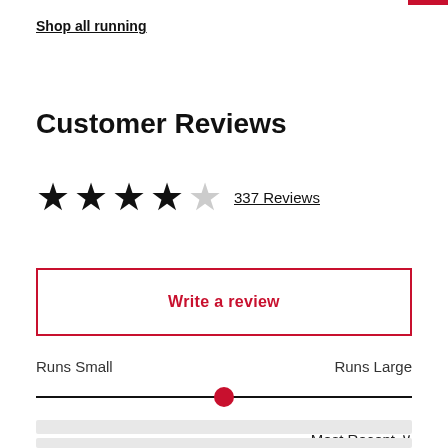Shop all running
Customer Reviews
★★★★☆ 337 Reviews
Write a review
Runs Small    Runs Large
Most Recent ∨